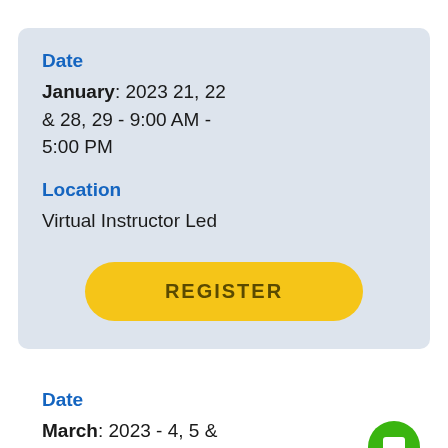Date
January: 2023 21, 22 & 28, 29 - 9:00 AM - 5:00 PM
Location
Virtual Instructor Led
REGISTER
Date
March: 2023 - 4, 5 &